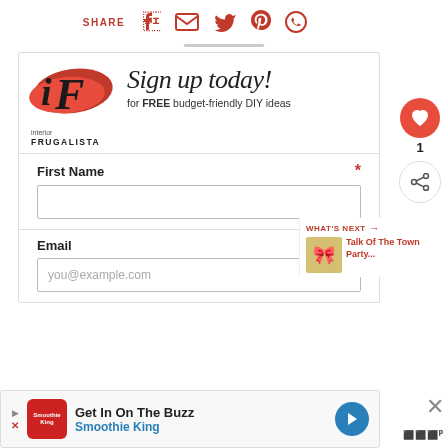[Figure (other): Share bar with social media icons: Facebook, Email, Twitter, Pinterest, WhatsApp]
[Figure (infographic): Interior Frugalista newsletter signup box with logo, 'Sign up today!' heading, 'for FREE budget-friendly DIY ideas', First Name field, Email field with placeholder 'you@example.com']
[Figure (other): Sidebar with heart/like button showing count 1, and share button]
[Figure (other): What's Next panel: Talk Of The Town Party...]
[Figure (other): Ad banner: Get In On The Buzz - Smoothie King]